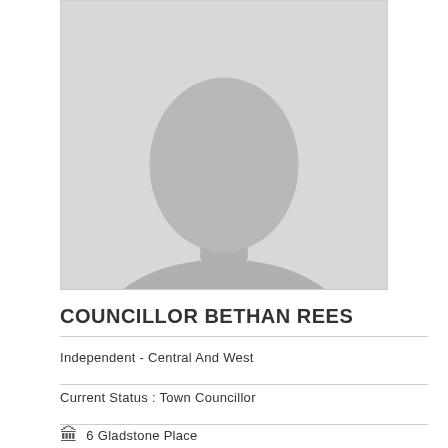[Figure (photo): Generic placeholder silhouette photo of a person (grey background with dark grey person outline)]
COUNCILLOR BETHAN REES
Independent - Central And West
Current Status : Town Councillor
6 Gladstone Place